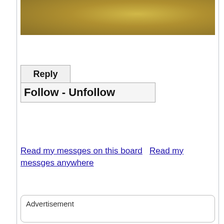[Figure (photo): Golden/brown textured background banner image at the top of the page]
Reply
Follow - Unfollow
Read my messges on this board   Read my messges anywhere
Advertisement